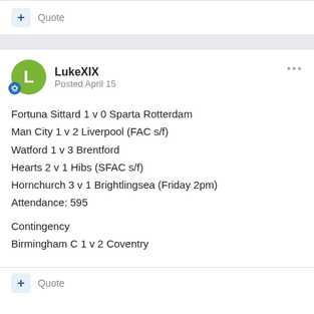+ Quote
LukeXIX
Posted April 15
Fortuna Sittard 1 v 0 Sparta Rotterdam
Man City 1 v 2 Liverpool (FAC s/f)
Watford 1 v 3 Brentford
Hearts 2 v 1 Hibs (SFAC s/f)
Hornchurch 3 v 1 Brightlingsea (Friday 2pm)
Attendance: 595

Contingency
Birmingham C 1 v 2 Coventry
+ Quote